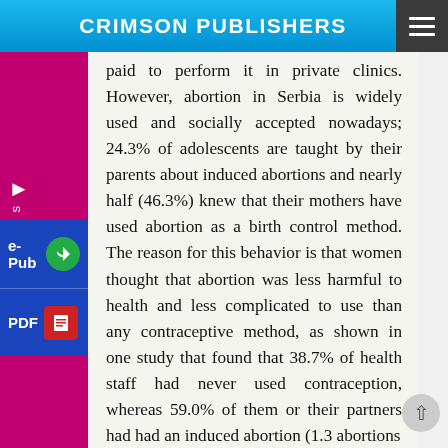CRIMSON PUBLISHERS
paid to perform it in private clinics. However, abortion in Serbia is widely used and socially accepted nowadays; 24.3% of adolescents are taught by their parents about induced abortions and nearly half (46.3%) knew that their mothers have used abortion as a birth control method. The reason for this behavior is that women thought that abortion was less harmful to health and less complicated to use than any contraceptive method, as shown in one study that found that 38.7% of health staff had never used contraception, whereas 59.0% of them or their partners had had an induced abortion (1.3 abortions